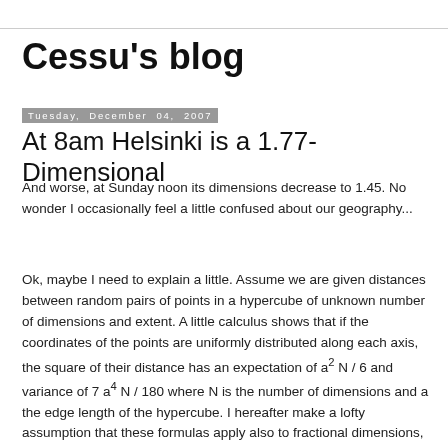Cessu's blog
Tuesday, December 04, 2007
At 8am Helsinki is a 1.77-Dimensional
And worse, at Sunday noon its dimensions decrease to 1.45. No wonder I occasionally feel a little confused about our geography...
Ok, maybe I need to explain a little. Assume we are given distances between random pairs of points in a hypercube of unknown number of dimensions and extent. A little calculus shows that if the coordinates of the points are uniformly distributed along each axis, the square of their distance has an expectation of a2 N / 6 and variance of 7 a4 N / 180 where N is the number of dimensions and a the edge length of the hypercube. I hereafter make a lofty assumption that these formulas apply also to fractional dimensions, at least